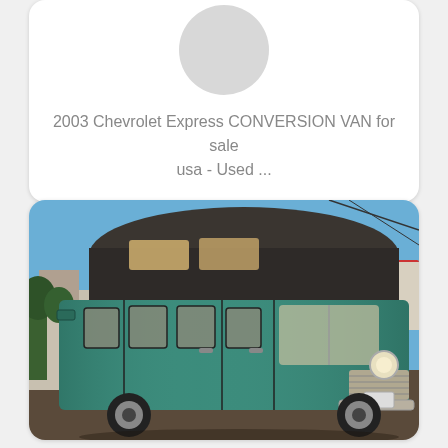[Figure (photo): Partial view of a used conversion van listing card with a circular placeholder/logo image at the top and text below reading '2003 Chevrolet Express CONVERSION VAN for sale usa - Used ...']
2003 Chevrolet Express CONVERSION VAN for sale usa - Used ...
[Figure (photo): Photo of a vintage teal/green conversion van with a raised fiberglass high-top roof, parked on a street. The van has small windows along the side, chrome front bumper and grill. An RV and houses are visible in the background under a blue sky.]